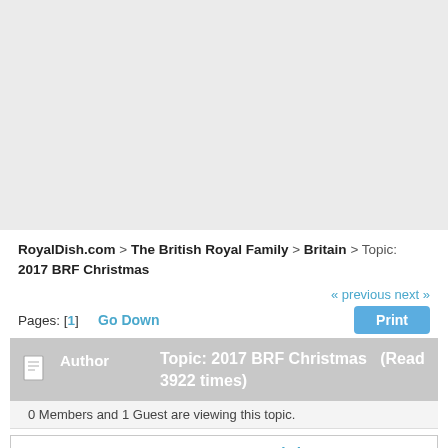[Figure (screenshot): Gray blank area at top of page (advertisement/banner placeholder)]
RoyalDish.com > The British Royal Family > Britain > Topic: 2017 BRF Christmas
« previous next »
Pages: [1]   Go Down   Print
| Author | Topic: 2017 BRF Christmas  (Read 3922 times) |
| --- | --- |
0 Members and 1 Guest are viewing this topic.
PeDe
Board Helper
Most Exalted Member
2017 BRF Christmas
« on: December 13, 2017, 11:09:07 PM »